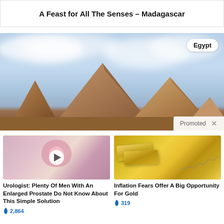A Feast for All The Senses – Madagascar
[Figure (photo): Egyptian pyramids under a cloudy blue sky with an 'Egypt' label badge in the top right corner and a 'Promoted X' bar at the bottom right]
Promoted X
[Figure (photo): Medical illustration of an enlarged prostate with a video play button overlay]
Urologist: Plenty Of Men With An Enlarged Prostate Do Not Know About This Simple Solution
🔥 2,864
[Figure (photo): Gold bars and coins resting on a financial chart document]
Inflation Fears Offer A Big Opportunity For Gold
🔥 319